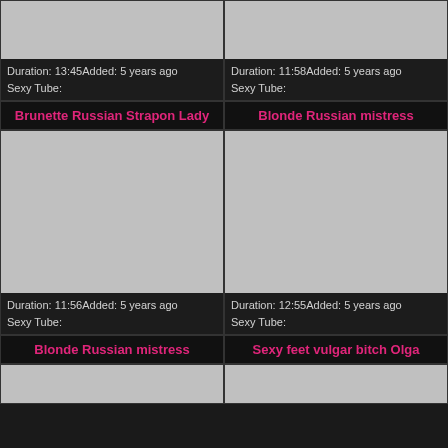[Figure (photo): Video thumbnail placeholder (gray)]
Duration: 13:45Added: 5 years ago
Sexy Tube:
[Figure (photo): Video thumbnail placeholder (gray)]
Duration: 11:58Added: 5 years ago
Sexy Tube:
Brunette Russian Strapon Lady
Blonde Russian mistress
[Figure (photo): Video thumbnail placeholder (gray)]
Duration: 11:56Added: 5 years ago
Sexy Tube:
[Figure (photo): Video thumbnail placeholder (gray)]
Duration: 12:55Added: 5 years ago
Sexy Tube:
Blonde Russian mistress
Sexy feet vulgar bitch Olga
[Figure (photo): Video thumbnail placeholder (gray)]
[Figure (photo): Video thumbnail placeholder (gray)]